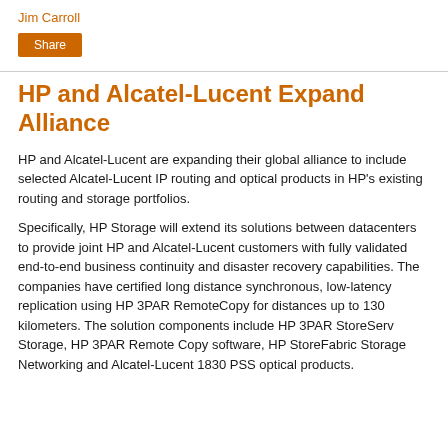Jim Carroll
Share
HP and Alcatel-Lucent Expand Alliance
HP and Alcatel-Lucent are expanding their global alliance to include selected Alcatel-Lucent IP routing and optical products in HP's existing routing and storage portfolios.
Specifically, HP Storage will extend its solutions between datacenters to provide joint HP and Alcatel-Lucent customers with fully validated end-to-end business continuity and disaster recovery capabilities. The companies have certified long distance synchronous, low-latency replication using HP 3PAR RemoteCopy for distances up to 130 kilometers. The solution components include HP 3PAR StoreServ Storage, HP 3PAR Remote Copy software, HP StoreFabric Storage Networking and Alcatel-Lucent 1830 PSS optical products.